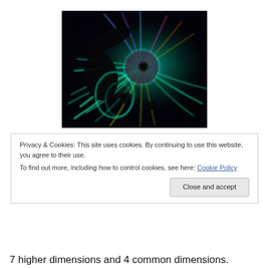[Figure (illustration): Abstract digital fractal art showing colorful swirling energy streams (green, teal, blue, yellow, purple, pink) radiating outward from a central black circular void against a dark background, with additional black oval shapes scattered around.]
Privacy & Cookies: This site uses cookies. By continuing to use this website, you agree to their use.
To find out more, including how to control cookies, see here: Cookie Policy
7 higher dimensions and 4 common dimensions.